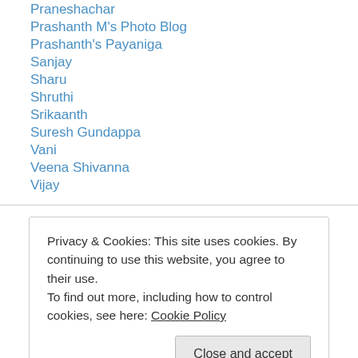Praneshachar
Prashanth M's Photo Blog
Prashanth's Payaniga
Sanjay
Sharu
Shruthi
Srikaanth
Suresh Gundappa
Vani
Veena Shivanna
Vijay
Privacy & Cookies: This site uses cookies. By continuing to use this website, you agree to their use. To find out more, including how to control cookies, see here: Cookie Policy
Close and accept
Rajajinagara on the web!